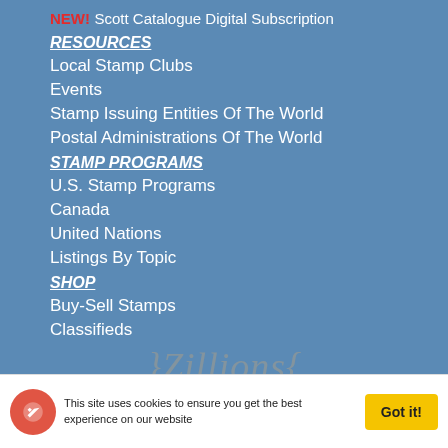NEW! Scott Catalogue Digital Subscription
RESOURCES
Local Stamp Clubs
Events
Stamp Issuing Entities Of The World
Postal Administrations Of The World
STAMP PROGRAMS
U.S. Stamp Programs
Canada
United Nations
Listings By Topic
SHOP
Buy-Sell Stamps
Classifieds
[Figure (logo): Zillions watermark text in tan/gold color]
This site uses cookies to ensure you get the best experience on our website  Got it!